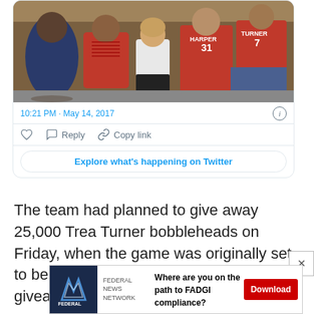[Figure (photo): Photo of baseball fans wearing Washington Nationals jerseys (Harper #31, Turner #7) standing outside a stadium]
10:21 PM · May 14, 2017
Reply  Copy link
Explore what's happening on Twitter
The team had planned to give away 25,000 Trea Turner bobbleheads on Friday, when the game was originally set to be played.  But both the game and the giveaway were rescheduled to Sund
[Figure (infographic): Advertisement banner for Federal News Network: 'Where are you on the path to FADGI compliance?' with a Download button]